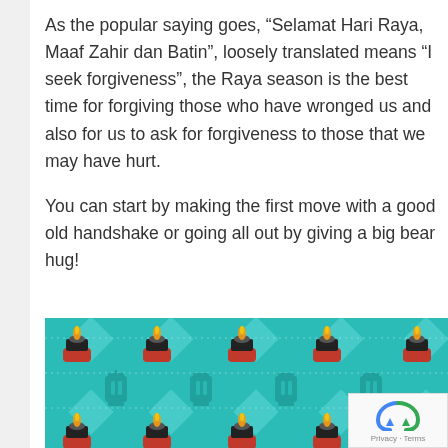As the popular saying goes, “Selamat Hari Raya, Maaf Zahir dan Batin”, loosely translated means “I seek forgiveness”, the Raya season is the best time for forgiving those who have wronged us and also for us to ask for forgiveness to those that we may have hurt.
You can start by making the first move with a good old handshake or going all out by giving a big bear hug!
[Figure (illustration): A decorative pattern on a teal background featuring rows of red candles with yellow flames and teal lantern silhouettes, arranged in a repeating tile pattern.]